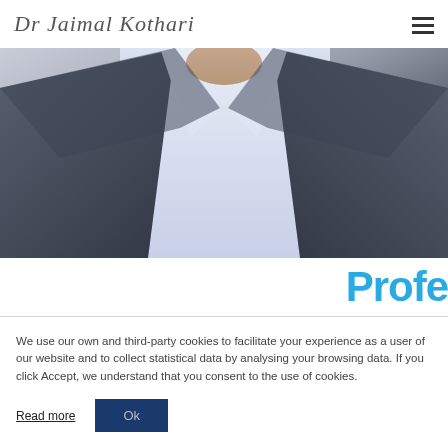Dr Jaimal Kothari
[Figure (photo): Close-up photo of a man wearing a dark grey blazer over a white shirt, cropped at the neck/chest area, light blue background]
Profe
We use our own and third-party cookies to facilitate your experience as a user of our website and to collect statistical data by analysing your browsing data. If you click Accept, we understand that you consent to the use of cookies.
Read more  Ok